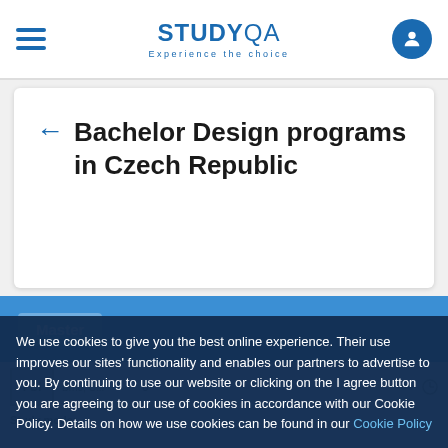STUDY QA — Experience the choice
← Bachelor Design programs in Czech Republic
Master
Applied Sciences in Engineering... Brno, C... 0
We use cookies to give you the best online experience. Their use improves our sites' functionality and enables our partners to advertise to you. By continuing to use our website or clicking on the I agree button you are agreeing to our use of cookies in accordance with our Cookie Policy. Details on how we use cookies can be found in our Cookie Policy
I AGREE
Study mode: